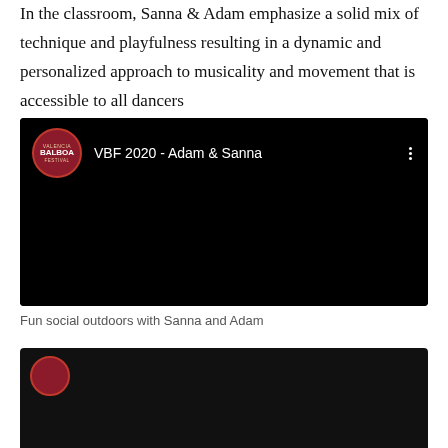In the classroom, Sanna & Adam emphasize a solid mix of technique and playfulness resulting in a dynamic and personalized approach to musicality and movement that is accessible to all dancers
[Figure (screenshot): YouTube video embed showing 'VBF 2020 - Adam & Sanna' with Valencia Balboa Festival logo on black background]
Fun social outdoors with Sanna and Adam
[Figure (screenshot): Second YouTube video embed with Valencia Balboa Festival logo, partially visible at bottom of page]